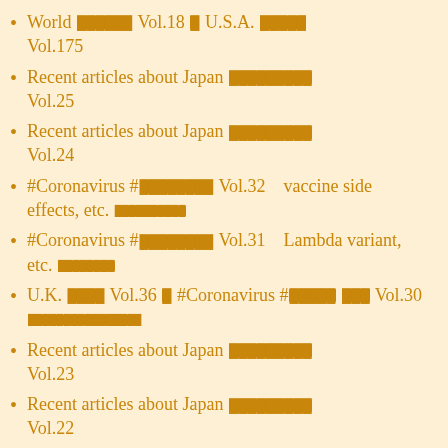World ████ Vol.18 █ U.S.A. ████ Vol.175
Recent articles about Japan █████████ Vol.25
Recent articles about Japan █████████ Vol.24
#Coronavirus #████████ Vol.32　vaccine side effects, etc.
#Coronavirus #████████ Vol.31　Lambda variant, etc.
U.K. ████ Vol.36 █ #Coronavirus #█████ ███ Vol.30
Recent articles about Japan █████████ Vol.23
Recent articles about Japan █████████ Vol.22